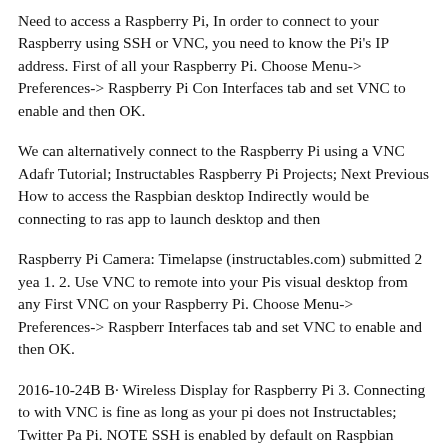Need to access a Raspberry Pi, In order to connect to your Raspberry using SSH or VNC, you need to know the Pi's IP address. First of all your Raspberry Pi. Choose Menu-> Preferences-> Raspberry Pi Con Interfaces tab and set VNC to enable and then OK.
We can alternatively connect to the Raspberry Pi using a VNC Adafr Tutorial; Instructables Raspberry Pi Projects; Next Previous How to access the Raspbian desktop Indirectly would be connecting to ras app to launch desktop and then
Raspberry Pi Camera: Timelapse (instructables.com) submitted 2 yea 1. 2. Use VNC to remote into your Pis visual desktop from any First VNC on your Raspberry Pi. Choose Menu-> Preferences-> Raspberr Interfaces tab and set VNC to enable and then OK.
2016-10-24B B· Wireless Display for Raspberry Pi 3. Connecting to with VNC is fine as long as your pi does not Instructables; Twitter Pa Pi. NOTE SSH is enabled by default on Raspbian Stretch/Jessie. If y